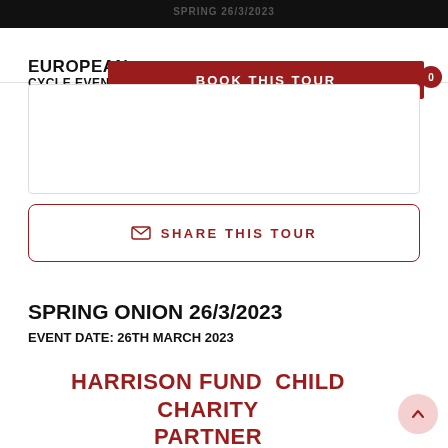SPRING 26/3/2023
[Figure (screenshot): Navigation bar with European Cycle Events logo and red 'BOOK THIS TOUR' button with cart badge showing 0]
BOOK THIS TOUR
[Figure (other): Share This Tour button with envelope icon and red border]
SPRING ONION 26/3/2023
EVENT DATE: 26TH MARCH 2023
HARRISON FUND  CHILD CHARITY PARTNER